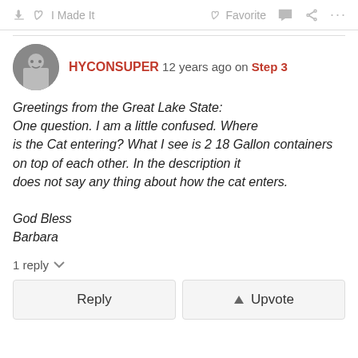I Made It   Favorite   ...
HYCONSUPER 12 years ago on Step 3
Greetings from the Great Lake State:
One question. I am a little confused. Where is the Cat entering? What I see is 2 18 Gallon containers on top of each other. In the description it does not say any thing about how the cat enters.

God Bless
Barbara
1 reply
Reply   Upvote